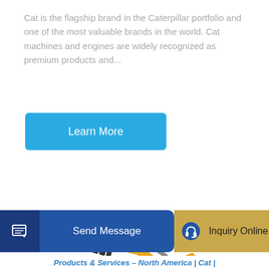Cat is the flagship brand in the Caterpillar portfolio and one of the most valuable brands in the world. Cat machines and engines are widely recognized as premium products and...
Learn More
[Figure (photo): Large yellow hydraulic excavator (XCMG brand) with extended boom arm and bucket, shown on white background, side-angled view showing full machine including undercarriage tracks.]
Send Message
Inquiry Online
Products & Services - North America | Cat |